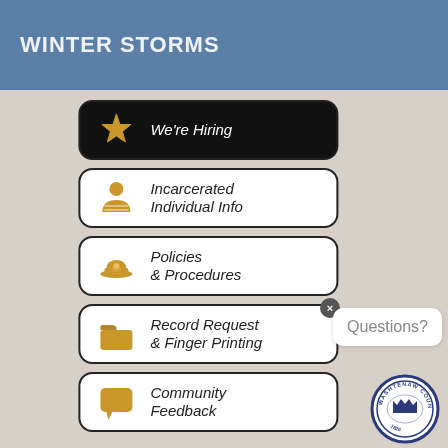Winter Storms
[Figure (screenshot): Government website navigation page for a county sheriff department showing buttons for We're Hiring, Incarcerated Individual Info, Policies & Procedures, Record Request & Finger Printing, Community Feedback, along with a Questions? chat bubble and Washtenaw County Michigan seal]
We're Hiring
Incarcerated Individual Info
Policies & Procedures
Record Request & Finger Printing
Community Feedback
Questions?